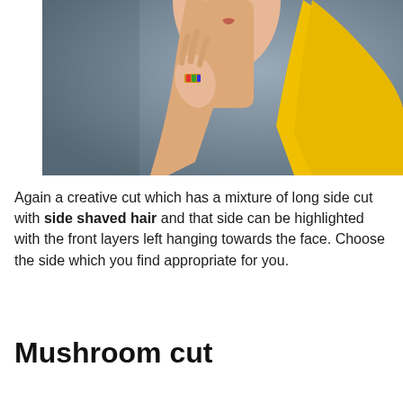[Figure (photo): A woman with short reddish hair wearing a yellow top, holding her hand near her face with a colorful gemstone ring on her finger. Gray background.]
Again a creative cut which has a mixture of long side cut with side shaved hair and that side can be highlighted with the front layers left hanging towards the face. Choose the side which you find appropriate for you.
Mushroom cut